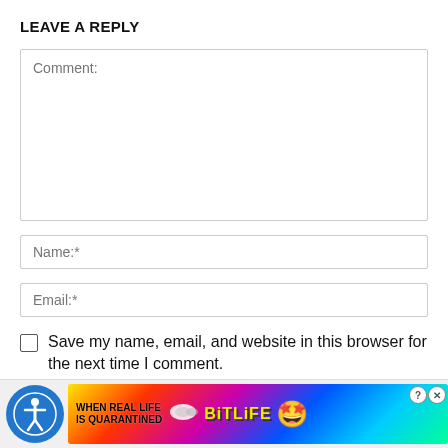LEAVE A REPLY
Comment:
Name:*
Email:*
Save my name, email, and website in this browser for the next time I comment.
[Figure (screenshot): Bottom advertisement banner for BitLife game with rainbow gradient background, accessibility icon on left, text 'WHEN REAL LIFE IS QUARANTINED' with sperm emoji and BitLife logo, and star-eyes emoji character]